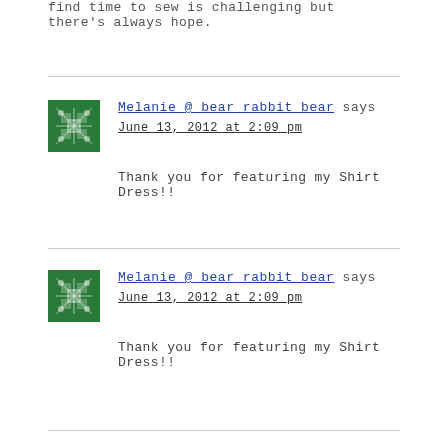find time to sew is challenging but there's always hope.
Melanie @ bear rabbit bear says
June 13, 2012 at 2:09 pm
Thank you for featuring my Shirt Dress!!
Melanie @ bear rabbit bear says
June 13, 2012 at 2:09 pm
Thank you for featuring my Shirt Dress!!